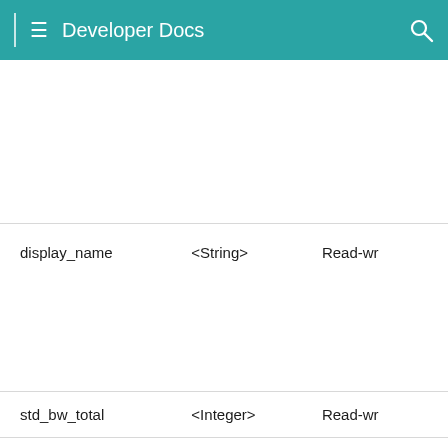Developer Docs
| name | type | access |
| --- | --- | --- |
| display_name | <String> | Read-wr |
| std_bw_total | <Integer> | Read-wr |
| partition_name | <String> | Read-wr |